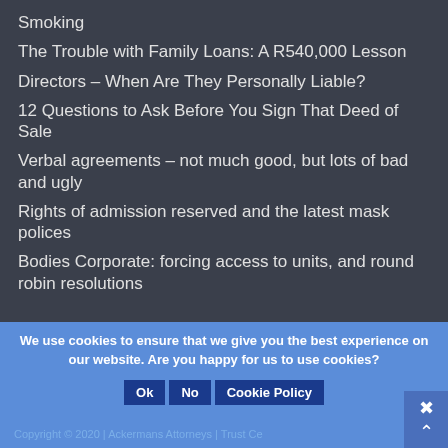Smoking
The Trouble with Family Loans: A R540,000 Lesson
Directors – When Are They Personally Liable?
12 Questions to Ask Before You Sign That Deed of Sale
Verbal agreements – not much good, but lots of bad and ugly
Rights of admission reserved and the latest mask polices
Bodies Corporate: forcing access to units, and round robin resolutions
We use cookies to ensure that we give you the best experience on our website. Are you happy for us to use cookies?
Copyright © 2020 | Ackermans Attorneys | Trust Ce